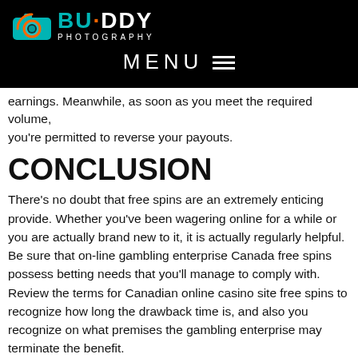[Figure (logo): Buddy Photography logo with teal camera icon and orange accent, white text on black background]
MENU ≡
earnings. Meanwhile, as soon as you meet the required volume, you're permitted to reverse your payouts.
CONCLUSION
There's no doubt that free spins are an extremely enticing provide. Whether you've been wagering online for a while or you are actually brand new to it, it is actually regularly helpful. Be sure that on-line gambling enterprise Canada free spins possess betting needs that you'll manage to comply with. Review the terms for Canadian online casino site free spins to recognize how long the drawback time is, and also you recognize on what premises the gambling enterprise may terminate the benefit.
22002 | posted at October 26th, 2021 in free spins
free spins